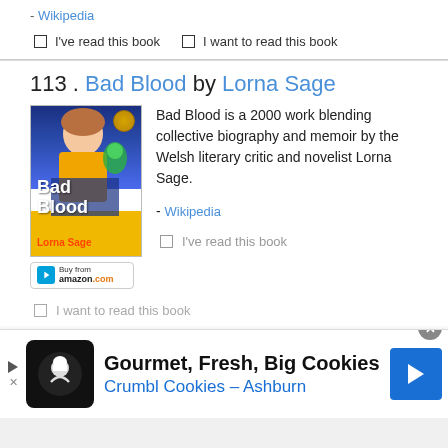- Wikipedia
☐ I've read this book   ☐ I want to read this book
113 . Bad Blood by Lorna Sage
[Figure (illustration): Book cover of Bad Blood by Lorna Sage, woman in yellow top with blue/teal parrot, yellow background]
Bad Blood is a 2000 work blending collective biography and memoir by the Welsh literary critic and novelist Lorna Sage.
- Wikipedia
☐ I've read this book
☐ I want to read this book
[Figure (infographic): Advertisement banner: Gourmet, Fresh, Big Cookies - Crumbl Cookies - Ashburn]